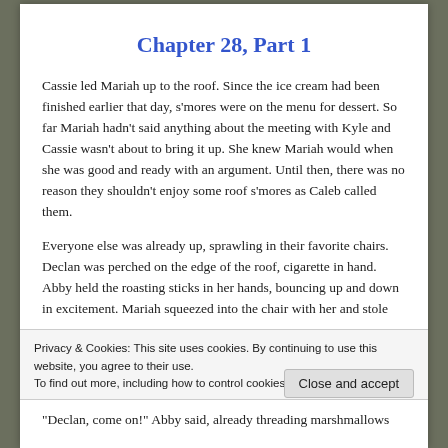Chapter 28, Part 1
Cassie led Mariah up to the roof. Since the ice cream had been finished earlier that day, s’mores were on the menu for dessert. So far Mariah hadn’t said anything about the meeting with Kyle and Cassie wasn’t about to bring it up. She knew Mariah would when she was good and ready with an argument. Until then, there was no reason they shouldn’t enjoy some roof s’mores as Caleb called them.
Everyone else was already up, sprawling in their favorite chairs. Declan was perched on the edge of the roof, cigarette in hand. Abby held the roasting sticks in her hands, bouncing up and down in excitement. Mariah squeezed into the chair with her and stole
Privacy & Cookies: This site uses cookies. By continuing to use this website, you agree to their use. To find out more, including how to control cookies, see here: Cookie Policy
“Declan, come on!” Abby said, already threading marshmallows